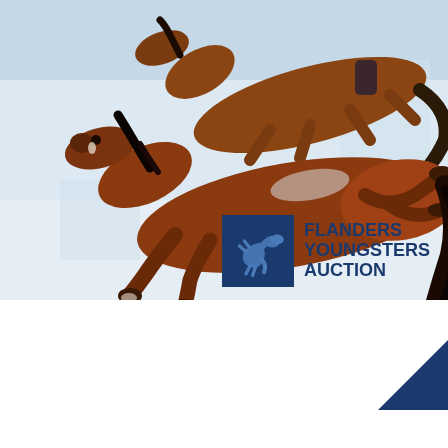[Figure (photo): Two bay (brown) horses jumping over a fence in an equestrian arena, photographed against a light blue-grey indoor background. The horses are mid-jump, showing athletic form.]
[Figure (logo): Flanders Youngsters Auction logo: dark blue square with a jumping horse silhouette in medium blue, next to the text FLANDERS YOUNGSTERS AUCTION in dark navy.]
SEPT 16th at 8:00 PM
DURING CSI ZANDHOVEN